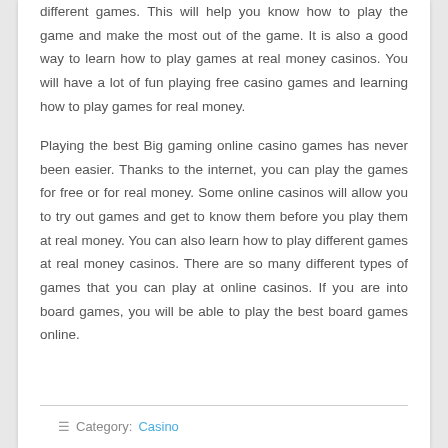different games. This will help you know how to play the game and make the most out of the game. It is also a good way to learn how to play games at real money casinos. You will have a lot of fun playing free casino games and learning how to play games for real money.
Playing the best Big gaming online casino games has never been easier. Thanks to the internet, you can play the games for free or for real money. Some online casinos will allow you to try out games and get to know them before you play them at real money. You can also learn how to play different games at real money casinos. There are so many different types of games that you can play at online casinos. If you are into board games, you will be able to play the best board games online.
≡ Category: Casino